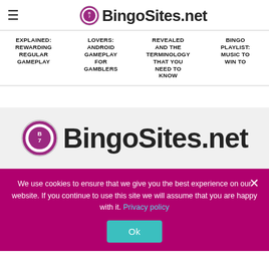BingoSites.net (header logo with hamburger menu)
EXPLAINED: REWARDING REGULAR GAMEPLAY
LOVERS: ANDROID GAMEPLAY FOR GAMBLERS
REVEALED AND THE TERMINOLOGY THAT YOU NEED TO KNOW
BINGO PLAYLIST: MUSIC TO WIN TO
[Figure (logo): BingoSites.net logo with bingo ball icon on grey background]
We use cookies to ensure that we give you the best experience on our website. If you continue to use this site we will assume that you are happy with it. Privacy policy